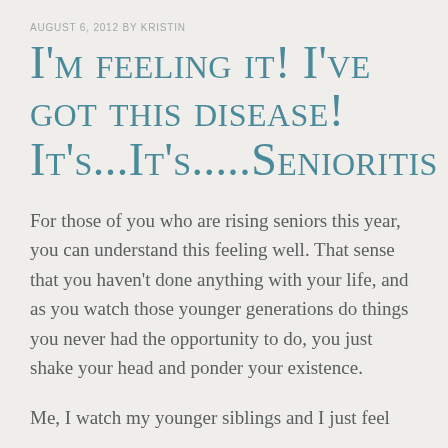AUGUST 6, 2012 BY KRISTIN
I'm feeling it! I've got this disease! It's...It's.....Senioritis
For those of you who are rising seniors this year, you can understand this feeling well. That sense that you haven't done anything with your life, and as you watch those younger generations do things you never had the opportunity to do, you just shake your head and ponder your existence.
Me, I watch my younger siblings and I just feel